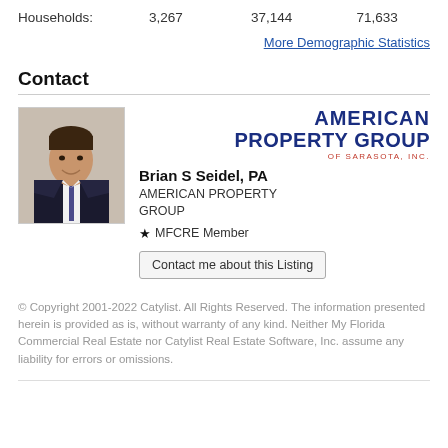Households: 3,267 37,144 71,633
More Demographic Statistics
Contact
[Figure (photo): Portrait photo of Brian S Seidel, PA, a man in a dark suit with a tie, smiling, standing indoors]
Brian S Seidel, PA
AMERICAN PROPERTY GROUP
★ MFCRE Member
Contact me about this Listing
[Figure (logo): American Property Group of Sarasota, Inc. logo in dark blue and red text]
© Copyright 2001-2022 Catylist. All Rights Reserved. The information presented herein is provided as is, without warranty of any kind. Neither My Florida Commercial Real Estate nor Catylist Real Estate Software, Inc. assume any liability for errors or omissions.